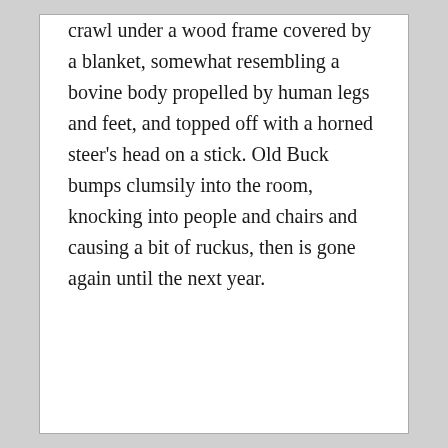crawl under a wood frame covered by a blanket, somewhat resembling a bovine body propelled by human legs and feet, and topped off with a horned steer's head on a stick. Old Buck bumps clumsily into the room, knocking into people and chairs and causing a bit of ruckus, then is gone again until the next year.